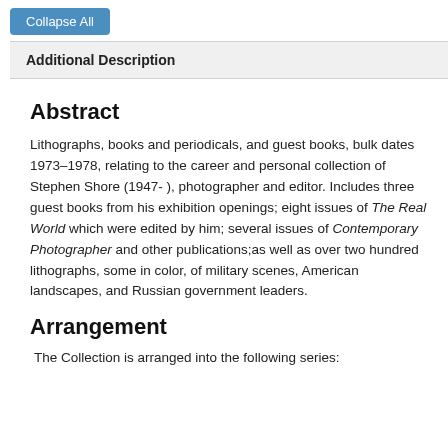Collapse All
Additional Description
Abstract
Lithographs, books and periodicals, and guest books, bulk dates 1973–1978, relating to the career and personal collection of Stephen Shore (1947- ), photographer and editor. Includes three guest books from his exhibition openings; eight issues of The Real World which were edited by him; several issues of Contemporary Photographer and other publications;as well as over two hundred lithographs, some in color, of military scenes, American landscapes, and Russian government leaders.
Arrangement
The Collection is arranged into the following series: